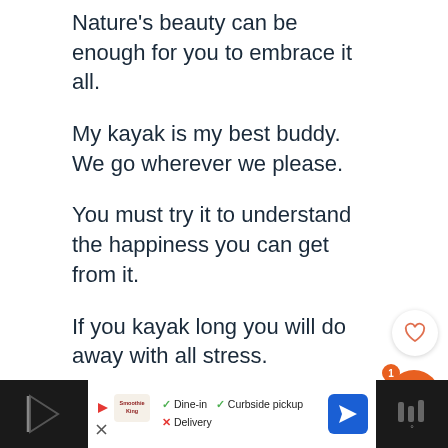Nature's beauty can be enough for you to embrace it all.
My kayak is my best buddy. We go wherever we please.
You must try it to understand the happiness you can get from it.
If you kayak long you will do away with all stress.
Your life is a kayak. Just keep it and move forward. The adventure is
[Figure (screenshot): UI overlay elements: heart/like button (white circle), share count badge showing '1', orange share button, and a 'What's Next' promotional banner for '100+ Catchy Overlanding...']
[Figure (screenshot): Bottom advertisement bar showing Smoothie King ad with Dine-in, Curbside pickup checkmarks, Delivery cross, navigation arrow icon, and dark sidebars with play controls]